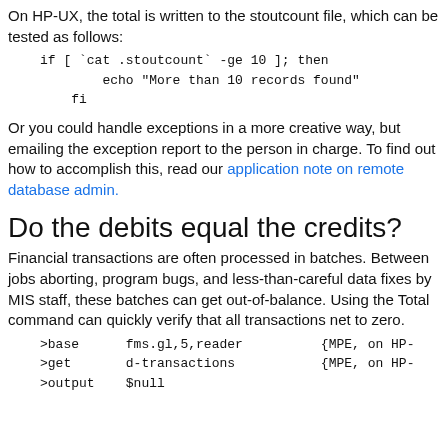On HP-UX, the total is written to the stoutcount file, which can be tested as follows:
Or you could handle exceptions in a more creative way, but emailing the exception report to the person in charge. To find out how to accomplish this, read our application note on remote database admin.
Do the debits equal the credits?
Financial transactions are often processed in batches. Between jobs aborting, program bugs, and less-than-careful data fixes by MIS staff, these batches can get out-of-balance. Using the Total command can quickly verify that all transactions net to zero.